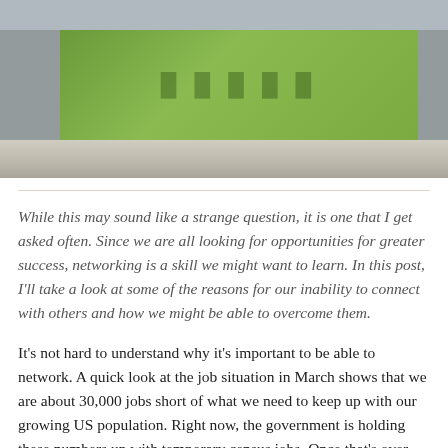[Figure (photo): Photograph of a construction site or building facade with green panels/cladding and metal fence/barrier in the foreground, with a concrete median or barrier at the bottom.]
While this may sound like a strange question, it is one that I get asked often. Since we are all looking for opportunities for greater success, networking is a skill we might want to learn. In this post, I'll take a look at some of the reasons for our inability to connect with others and how we might be able to overcome them.
It's not hard to understand why it's important to be able to network. A quick look at the job situation in March shows that we are about 30,000 jobs short of what we need to keep up with our growing US population. Right now, the government is holding these numbers up with temporary census jobs. Once that's over, competition will get really